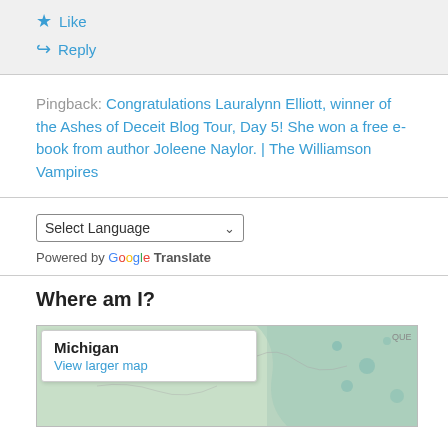Like
Reply
Pingback: Congratulations Lauralynn Elliott, winner of the Ashes of Deceit Blog Tour, Day 5! She won a free e-book from author Joleene Naylor. | The Williamson Vampires
Select Language
Powered by Google Translate
Where am I?
[Figure (map): Map showing Michigan region with a popup box labeled 'Michigan' and 'View larger map' link. Green and teal map background with 'QUE' label in top right corner.]